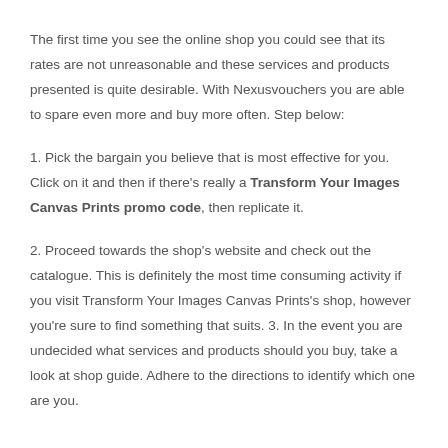The first time you see the online shop you could see that its rates are not unreasonable and these services and products presented is quite desirable. With Nexusvouchers you are able to spare even more and buy more often. Step below:
1. Pick the bargain you believe that is most effective for you. Click on it and then if there's really a Transform Your Images Canvas Prints promo code, then replicate it.
2. Proceed towards the shop's website and check out the catalogue. This is definitely the most time consuming activity if you visit Transform Your Images Canvas Prints's shop, however you're sure to find something that suits. 3. In the event you are undecided what services and products should you buy, take a look at shop guide. Adhere to the directions to identify which one are you.